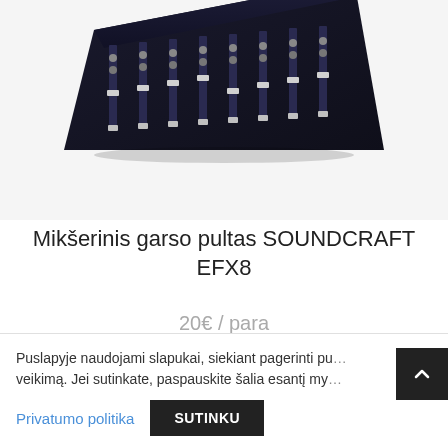[Figure (photo): Photo of a Soundcraft EFX8 mixer audio console, viewed from a slightly elevated angle, dark blue/black body with faders and buttons, shown against a light grey background.]
Mikšerinis garso pultas SOUNDCRAFT EFX8
20€ / para
Užsakyti
Puslapyje naudojami slapukai, siekiant pagerinti pu... veikimą. Jei sutinkate, paspauskite šalia esantį my...
Privatumo politika
SUTINKU